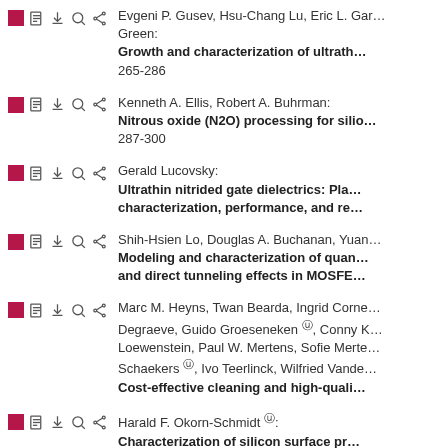Evgeni P. Gusev, Hsu-Chang Lu, Eric L. Garfunkel, Green: Growth and characterization of ultrathin... 265-286
Kenneth A. Ellis, Robert A. Buhrman: Nitrous oxide (N2O) processing for sili... 287-300
Gerald Lucovsky: Ultrathin nitrided gate dielectrics: Pla... characterization, performance, and re...
Shih-Hsien Lo, Douglas A. Buchanan, Yuan...: Modeling and characterization of quan... and direct tunneling effects in MOSFE...
Marc M. Heyns, Twan Bearda, Ingrid Corne... Degraeve, Guido Groeseneken, Conny K... Loewenstein, Paul W. Mertens, Sofie Merte... Schaekers, Ivo Teerlinck, Wilfried Vande... Cost-effective cleaning and high-quali...
Harald F. Okorn-Schmidt: Characterization of silicon surface pr...